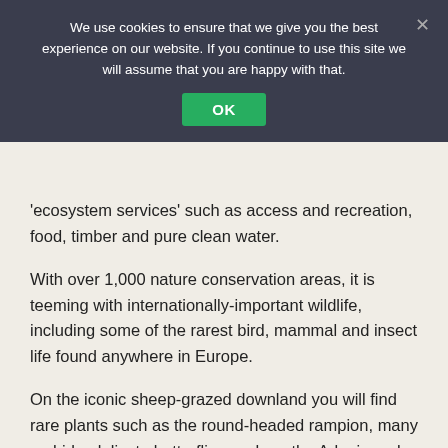We use cookies to ensure that we give you the best experience on our website. If you continue to use this site we will assume that you are happy with that.
'ecosystem services' such as access and recreation, food, timber and pure clean water.
With over 1,000 nature conservation areas, it is teeming with internationally-important wildlife, including some of the rarest bird, mammal and insect life found anywhere in Europe.
On the iconic sheep-grazed downland you will find rare plants such as the round-headed rampion, many orchids, delicate butterflies such as the Adonis and Chalk Hill Blues, and a wealth of other wildlife.